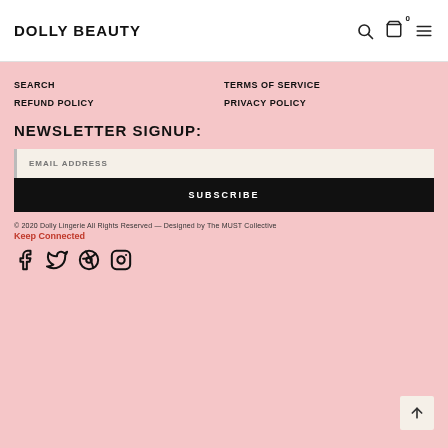DOLLY BEAUTY
SEARCH
REFUND POLICY
TERMS OF SERVICE
PRIVACY POLICY
NEWSLETTER SIGNUP:
EMAIL ADDRESS
SUBSCRIBE
© 2020 Dolly Lingerie All Rights Reserved — Designed by The MUST Collective
Keep Connected